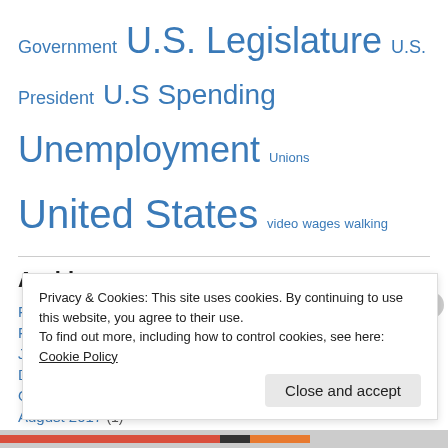Government U.S. Legislature U.S. President U.S Spending Unemployment Unions United States video wages walking
Archives
February 2019 (1)
February 2018 (1)
January 2018 (1)
December 2017 (1)
October 2017 (1)
August 2017 (1)
May 2017 (2)
Privacy & Cookies: This site uses cookies. By continuing to use this website, you agree to their use. To find out more, including how to control cookies, see here: Cookie Policy Close and accept